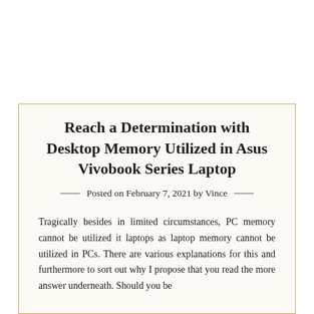Reach a Determination with Desktop Memory Utilized in Asus Vivobook Series Laptop
Posted on February 7, 2021 by Vince
Tragically besides in limited circumstances, PC memory cannot be utilized it laptops as laptop memory cannot be utilized in PCs. There are various explanations for this and furthermore to sort out why I propose that you read the more answer underneath. Should you be